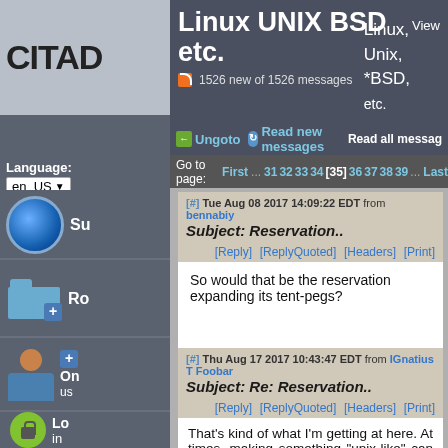CITAD — Linux UNIX BSD etc. | Linux, Unix, *BSD, etc. | 1526 new of 1526 messages
Ungoto | Read new messages | Read all messages
Language: en_US
Go to page: First ... 31 32 33 34 [35] 36 37 38 39 ... Last
[#] Tue Aug 08 2017 14:09:22 EDT from bennabiy
Subject: Reservation..
[Reply] [ReplyQuoted] [Headers] [Print]
So would that be the reservation expanding its tent-pegs?
[#] Thu Aug 17 2017 10:43:47 EDT from IGnatius T Foobar
Subject: Re: Reservation..
[Reply] [ReplyQuoted] [Headers] [Print]
That's kind of what I'm getting at here. At times, making something "unix-like" can be at odds with making it maintainable by non-